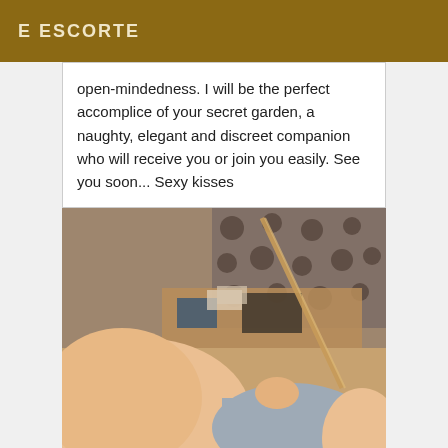E ESCORTE
open-mindedness. I will be the perfect accomplice of your secret garden, a naughty, elegant and discreet companion who will receive you or join you easily. See you soon... Sexy kisses
[Figure (photo): A photograph showing a person lying down, holding what appears to be a thin rod or stick, with a desk and phone visible in the blurred background. The image has a warm, vintage tone.]